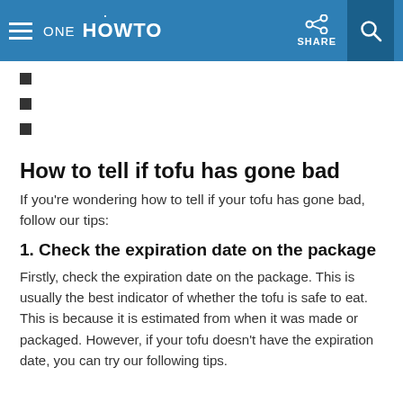ONE HOWTO | SHARE
■
■
■
How to tell if tofu has gone bad
If you're wondering how to tell if your tofu has gone bad, follow our tips:
1. Check the expiration date on the package
Firstly, check the expiration date on the package. This is usually the best indicator of whether the tofu is safe to eat. This is because it is estimated from when it was made or packaged. However, if your tofu doesn't have the expiration date, you can try our following tips.